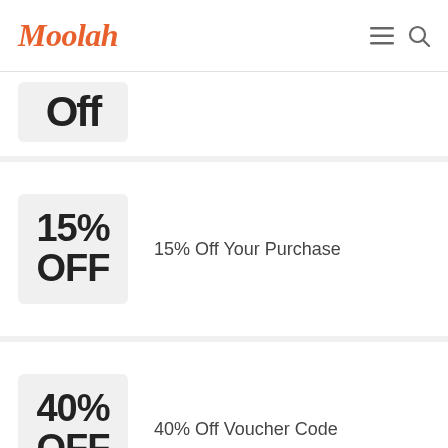Moolah
[Figure (other): Partial coupon showing OFF text, cut off at top]
15% OFF — 15% Off Your Purchase
40% OFF — 40% Off Voucher Code